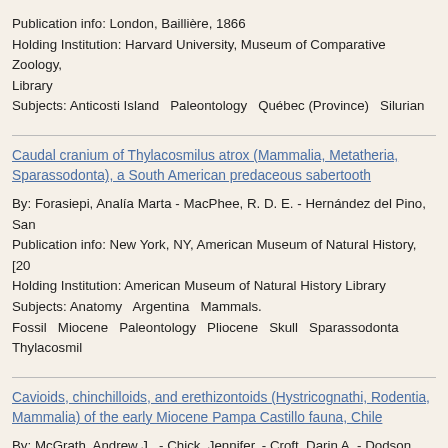Publication info: London, Baillière, 1866
Holding Institution: Harvard University, Museum of Comparative Zoology, Library
Subjects: Anticosti Island  Paleontology  Québec (Province)  Silurian
Caudal cranium of Thylacosmilus atrox (Mammalia, Metatheria, Sparassodonta), a South American predaceous sabertooth
By: Forasiepi, Analía Marta - MacPhee, R. D. E. - Hernández del Pino, San
Publication info: New York, NY, American Museum of Natural History, [20
Holding Institution: American Museum of Natural History Library
Subjects: Anatomy  Argentina  Mammals.
Fossil  Miocene  Paleontology  Pliocene  Skull  Sparassodonta  Thylacosmil
Cavioids, chinchilloids, and erethizontoids (Hystricognathi, Rodentia, Mammalia) of the early Miocene Pampa Castillo fauna, Chile
By: McGrath, Andrew J., - Chick, Jennifer, - Croft, Darin A. - Dodson, Holl J. (John Joseph), - Wyss, André R.
Publication info: New York, NY, American Museum of Natural History, [20
Holding Institution: American Museum of Natural History Library
Subjects: